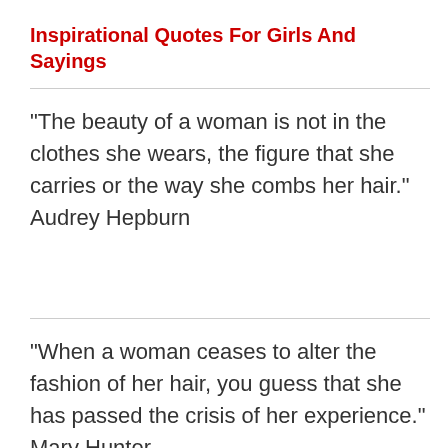Inspirational Quotes For Girls And Sayings
“The beauty of a woman is not in the clothes she wears, the figure that she carries or the way she combs her hair.” Audrey Hepburn
“When a woman ceases to alter the fashion of her hair, you guess that she has passed the crisis of her experience.” Mary Hunter Austin